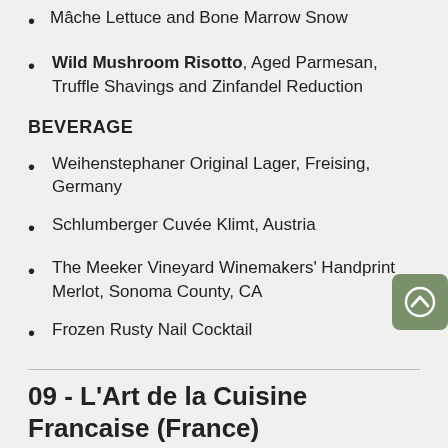Mâche Lettuce and Bone Marrow Snow
Wild Mushroom Risotto, Aged Parmesan, Truffle Shavings and Zinfandel Reduction
BEVERAGE
Weihenstephaner Original Lager, Freising, Germany
Schlumberger Cuvée Klimt, Austria
The Meeker Vineyard Winemakers' Handprint Merlot, Sonoma County, CA
Frozen Rusty Nail Cocktail
09 - L'Art de la Cuisine Francaise (France)
FOOD